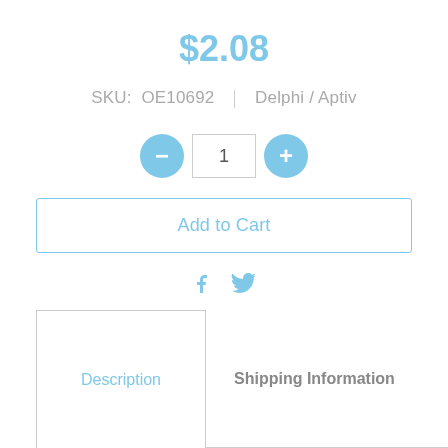$2.08
SKU: OE10692 | Delphi / Aptiv
[Figure (infographic): Quantity selector with minus button, input field showing 1, and plus button]
Add to Cart
[Figure (infographic): Social media icons: Facebook and Twitter in light blue]
Description | Shipping Information